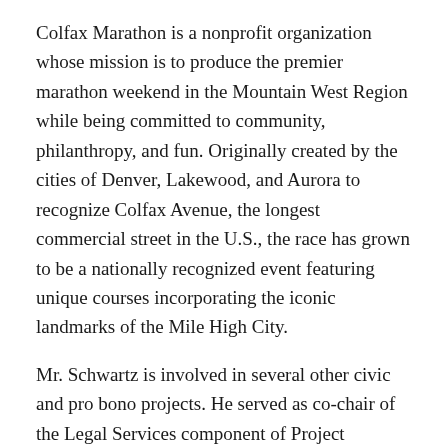Colfax Marathon is a nonprofit organization whose mission is to produce the premier marathon weekend in the Mountain West Region while being committed to community, philanthropy, and fun. Originally created by the cities of Denver, Lakewood, and Aurora to recognize Colfax Avenue, the longest commercial street in the U.S., the race has grown to be a nationally recognized event featuring unique courses incorporating the iconic landmarks of the Mile High City.
Mr. Schwartz is involved in several other civic and pro bono projects. He served as co-chair of the Legal Services component of Project Homeless Connect since its inception in 2005. He also leads several projects that seek to expand the ability of corporate attorneys to find and undertake transaction-related pro bono